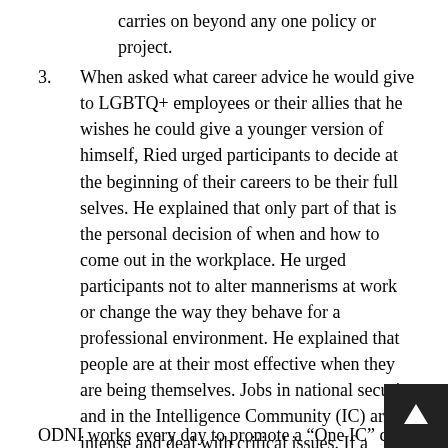carries on beyond any one policy or project.
3. When asked what career advice he would give to LGBTQ+ employees or their allies that he wishes he could give a younger version of himself, Ried urged participants to decide at the beginning of their careers to be their full selves. He explained that only part of that is the personal decision of when and how to come out in the workplace. He urged participants not to alter mannerisms at work or change the way they behave for a professional environment. He explained that people are at their most effective when they are being themselves. Jobs in national security and in the Intelligence Community (IC) are intense and deal with critical issues. If a person is genuine and good at their job, co-workers will accept them for that.
ODNI works every day to promote a “One IC” cultu